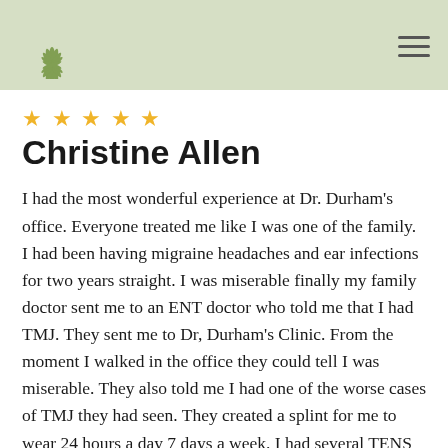[logo] Durham Dental Clinic | navigation menu
★ ★ ★ ★ ★
Christine Allen
I had the most wonderful experience at Dr. Durham's office. Everyone treated me like I was one of the family. I had been having migraine headaches and ear infections for two years straight. I was miserable finally my family doctor sent me to an ENT doctor who told me that I had TMJ. They sent me to Dr, Durham's Clinic. From the moment I walked in the office they could tell I was miserable. They also told me I had one of the worse cases of TMJ they had seen. They created a splint for me to wear 24 hours a day 7 days a week. I had several TENS therapy (transcutaneous electrical nerve stimulation) that helped me to relax. After the first two TENS sessions I began to feel a lot better. I have been wearing the splint now two years without any snap, crackle, pop. No more migraines and no more ear infections. I would recommend Durham Dental Clinic to anybody having TMJ.